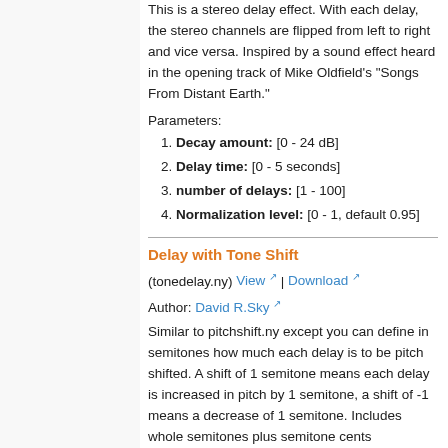This is a stereo delay effect. With each delay, the stereo channels are flipped from left to right and vice versa. Inspired by a sound effect heard in the opening track of Mike Oldfield's "Songs From Distant Earth."
Parameters:
Decay amount: [0 - 24 dB]
Delay time: [0 - 5 seconds]
number of delays: [1 - 100]
Normalization level: [0 - 1, default 0.95]
Delay with Tone Shift
(tonedelay.ny) View | Download
Author: David R.Sky
Similar to pitchshift.ny except you can define in semitones how much each delay is to be pitch shifted. A shift of 1 semitone means each delay is increased in pitch by 1 semitone, a shift of -1 means a decrease of 1 semitone. Includes whole semitones plus semitone cents